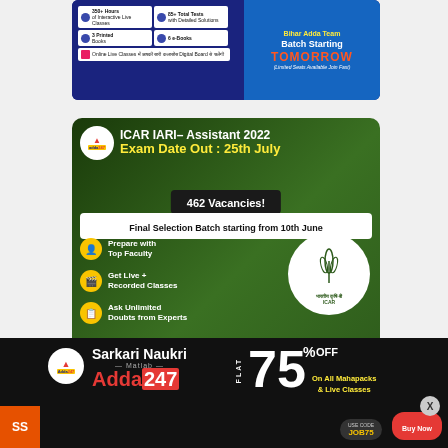[Figure (infographic): Bihar Adda Team top banner ad with course details and Batch Starting Tomorrow promotion]
[Figure (infographic): ICAR IARI Assistant 2022 exam date out 25th July, 462 Vacancies, Final Selection Batch starting from 10th June, adda247 promotional banner]
[Figure (infographic): Adda247 Sarkari Naukri Matlab Adda247 flat 75% off on all Mahapacks and Live Classes promotional banner with JOB75 code]